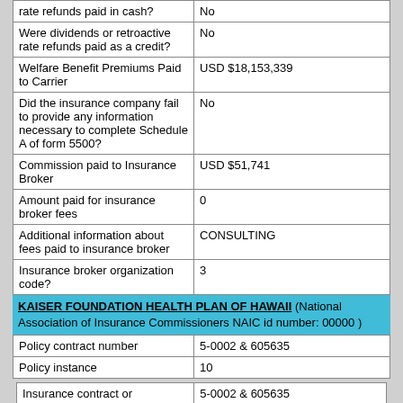| rate refunds paid in cash? | No |
| Were dividends or retroactive rate refunds paid as a credit? | No |
| Welfare Benefit Premiums Paid to Carrier | USD $18,153,339 |
| Did the insurance company fail to provide any information necessary to complete Schedule A of form 5500? | No |
| Commission paid to Insurance Broker | USD $51,741 |
| Amount paid for insurance broker fees | 0 |
| Additional information about fees paid to insurance broker | CONSULTING |
| Insurance broker organization code? | 3 |
KAISER FOUNDATION HEALTH PLAN OF HAWAII (National Association of Insurance Commissioners NAIC id number: 00000 )
| Policy contract number | 5-0002 & 605635 |
| Policy instance | 10 |
| Insurance contract or identification number | 5-0002 & 605635 |
| Number of Individuals Covered | 1524 |
| Insurance policy start date | 2020-01-01 |
| Insurance policy end date | 2020-12-31 |
| Total amount of commissions paid to insurance broker | USD $64,393 |